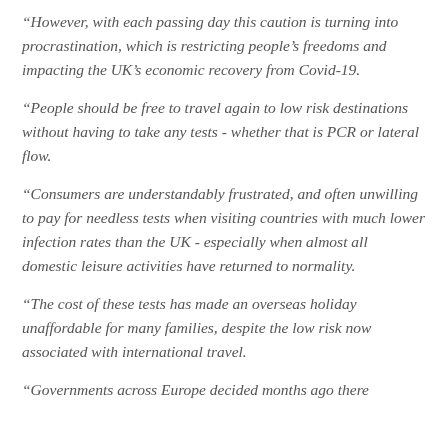“However, with each passing day this caution is turning into procrastination, which is restricting people’s freedoms and impacting the UK’s economic recovery from Covid-19.
“People should be free to travel again to low risk destinations without having to take any tests - whether that is PCR or lateral flow.
“Consumers are understandably frustrated, and often unwilling to pay for needless tests when visiting countries with much lower infection rates than the UK - especially when almost all domestic leisure activities have returned to normality.
“The cost of these tests has made an overseas holiday unaffordable for many families, despite the low risk now associated with international travel.
“Governments across Europe decided months ago there